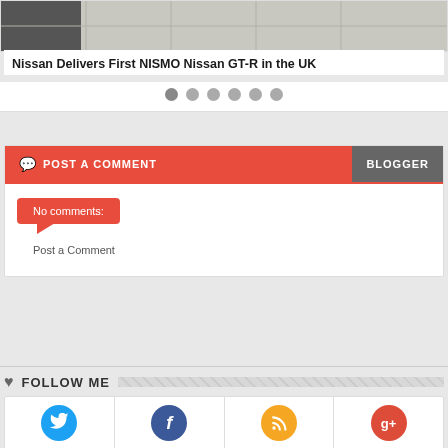[Figure (screenshot): Partial top of a blog article card showing a car image (tile floor background with dark object) and article title]
Nissan Delivers First NISMO Nissan GT-R in the UK
[Figure (other): Carousel navigation dots row: 6 dots, first one darker (active)]
POST A COMMENT
BLOGGER
No comments:
Post a Comment
FOLLOW ME
[Figure (other): Social media icons row: Twitter, Facebook, RSS, Google+]